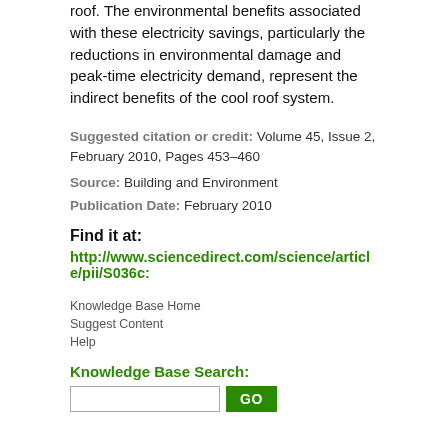roof. The environmental benefits associated with these electricity savings, particularly the reductions in environmental damage and peak-time electricity demand, represent the indirect benefits of the cool roof system.
Suggested citation or credit: Volume 45, Issue 2, February 2010, Pages 453–460
Source: Building and Environment
Publication Date: February 2010
Find it at:
http://www.sciencedirect.com/science/article/pii/S036c...
Knowledge Base Home
Suggest Content
Help
Knowledge Base Search: